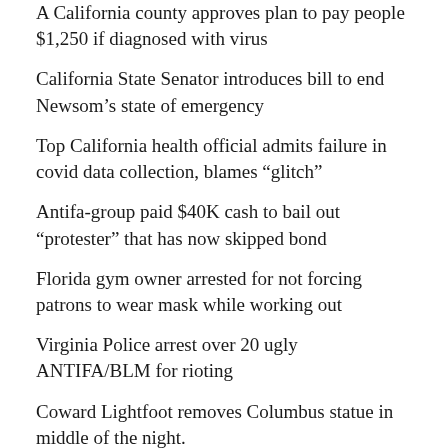A California county approves plan to pay people $1,250 if diagnosed with virus
California State Senator introduces bill to end Newsom's state of emergency
Top California health official admits failure in covid data collection, blames “glitch”
Antifa-group paid $40K cash to bail out “protester” that has now skipped bond
Florida gym owner arrested for not forcing patrons to wear mask while working out
Virginia Police arrest over 20 ugly ANTIFA/BLM for rioting
Coward Lightfoot removes Columbus statue in middle of the night.